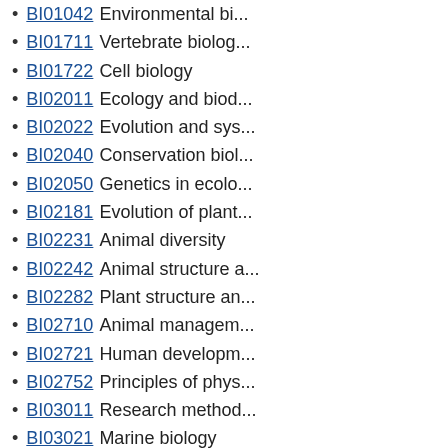BI01042 Environmental bi...
BI01711 Vertebrate biolog...
BI01722 Cell biology
BI02011 Ecology and biod...
BI02022 Evolution and sys...
BI02040 Conservation biol...
BI02050 Genetics in ecolo...
BI02181 Evolution of plant...
BI02231 Animal diversity
BI02242 Animal structure a...
BI02282 Plant structure an...
BI02710 Animal managem...
BI02721 Human developm...
BI02752 Principles of phys...
BI03011 Research method...
BI03021 Marine biology
BI03052 Animal behaviour...
BI03082 Plant global chan...
BI03091 Ecology of Austra...
BI03111 Ecological applica...
BI03122 Freshwater ecolo...
BI03132 Biology of Austral...
BI03610 Plant and cellular...
BI03810 Tropical aquatic ...